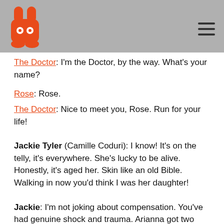[Logo and hamburger menu]
The Doctor: I'm the Doctor, by the way. What's your name?
Rose: Rose.
The Doctor: Nice to meet you, Rose. Run for your life!
Jackie Tyler (Camille Coduri): I know! It's on the telly, it's everywhere. She's lucky to be alive. Honestly, it's aged her. Skin like an old Bible. Walking in now you'd think I was her daughter!
Jackie: I'm not joking about compensation. You've had genuine shock and trauma. Arianna got two thousand quid off the Council just 'cause the old man behind the desk said she looked Greek. I know she is Greek, but that's not the point. She's very plain.
The Doctor: What are you doing here?